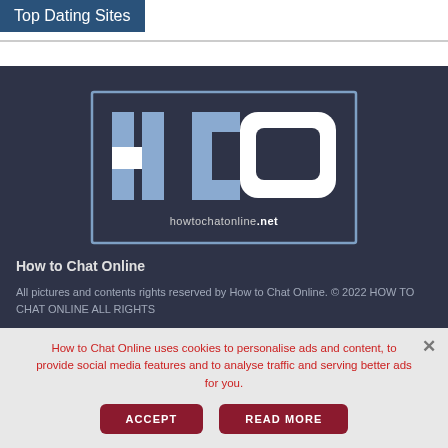Top Dating Sites
[Figure (logo): HCO howtochatonline.net logo — large stylized letters H, C, O in blue/white on dark navy background with border]
How to Chat Online
All pictures and contents rights reserved by How to Chat Online. © 2022 HOW TO CHAT ONLINE ALL RIGHTS
How to Chat Online uses cookies to personalise ads and content, to provide social media features and to analyse traffic and serving better ads for you.
ACCEPT
READ MORE